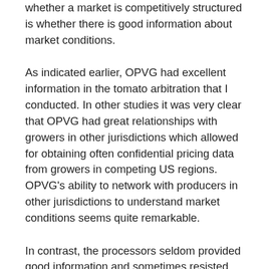whether a market is competitively structured is whether there is good information about market conditions.
As indicated earlier, OPVG had excellent information in the tomato arbitration that I conducted. In other studies it was very clear that OPVG had great relationships with growers in other jurisdictions which allowed for obtaining often confidential pricing data from growers in competing US regions. OPVG's ability to network with producers in other jurisdictions to understand market conditions seems quite remarkable.
In contrast, the processors seldom provided good information and sometimes resisted sharing what they did have. In particular, their association that was responsible for negotiations appeared to have little financial ability to conduct market research either because the processors were unwilling or didn't see the point in having a deep understanding of market